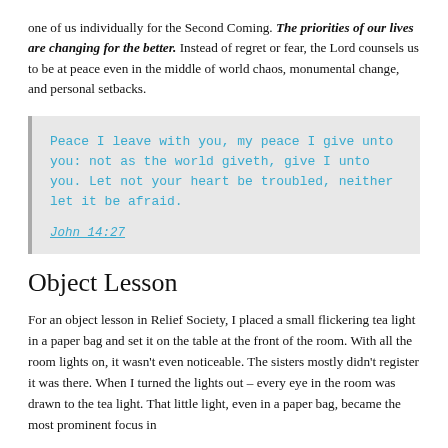one of us individually for the Second Coming. The priorities of our lives are changing for the better. Instead of regret or fear, the Lord counsels us to be at peace even in the middle of world chaos, monumental change, and personal setbacks.
Peace I leave with you, my peace I give unto you: not as the world giveth, give I unto you. Let not your heart be troubled, neither let it be afraid.

John 14:27
Object Lesson
For an object lesson in Relief Society, I placed a small flickering tea light in a paper bag and set it on the table at the front of the room. With all the room lights on, it wasn't even noticeable. The sisters mostly didn't register it was there. When I turned the lights out – every eye in the room was drawn to the tea light. That little light, even in a paper bag, became the most prominent focus in